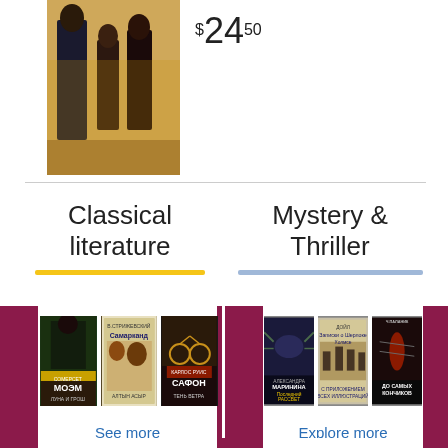[Figure (photo): Book cover image showing classical painting with figures in period dress]
$24.50
Classical literature
Mystery & Thriller
[Figure (photo): Three book covers for classical literature section: Моэм, Самарканд, Сафон]
See more
[Figure (photo): Three book covers for mystery & thriller section: Последний рассвет (Маринина), Doyle, До самых кончиков (Паланик)]
Explore more